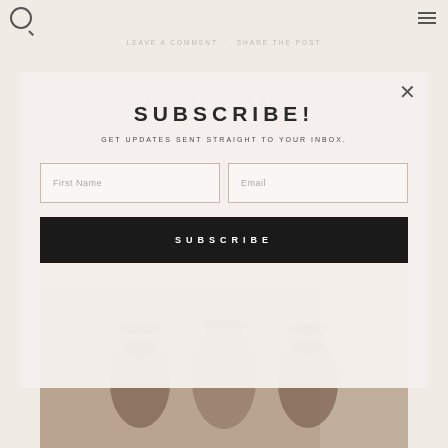LEAVE A COMMENT · SHARE THE POST
[Figure (screenshot): Website screenshot showing a subscription modal popup with 'SUBSCRIBE!' title, 'GET UPDATES SENT STRAIGHT TO YOUR INBOX.' subtitle, First Name and Email input fields, and a SUBSCRIBE button. Behind the modal is faded 'Explore More' italic text and a background photo of three women smiling wearing hats and sunglasses.]
SUBSCRIBE!
GET UPDATES SENT STRAIGHT TO YOUR INBOX.
First Name
Email
SUBSCRIBE